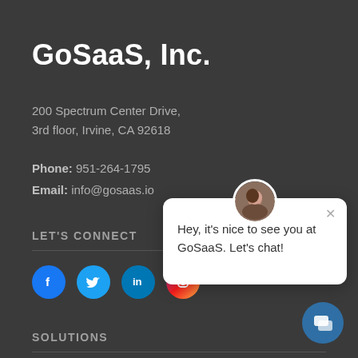GoSaaS, Inc.
200 Spectrum Center Drive,
3rd floor, Irvine, CA 92618
Phone: 951-264-1795
Email: info@gosaas.io
LET'S CONNECT
[Figure (infographic): Social media icons: Facebook, Twitter, LinkedIn, Instagram]
SOLUTIONS
Product Design Development
Commercialization and Supply Chain Management
[Figure (infographic): Chat popup with avatar photo of a woman and message: Hey, it's nice to see you at GoSaaS. Let's chat!]